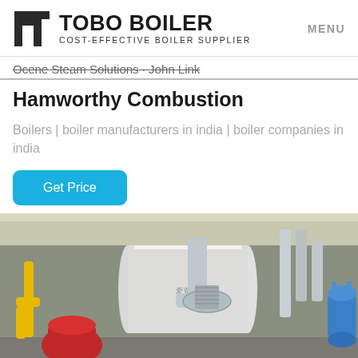TOBO BOILER COST-EFFECTIVE BOILER SUPPLIER MENU
Ocene Steam Solutions · John Link
Hamworthy Combustion
Boilers | boiler manufacturers in india | boiler companies in india
Get Price
[Figure (photo): Industrial boiler room showing large cylindrical boilers, yellow gas pipes, silver insulated pipes, red burner unit, and blue pressure vessel tank]